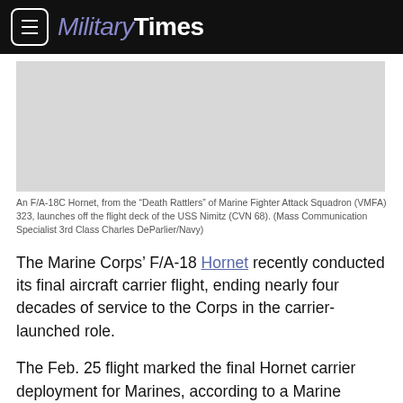MilitaryTimes
[Figure (photo): Gray placeholder area representing a photo of an F/A-18C Hornet launching off the flight deck of the USS Nimitz.]
An F/A-18C Hornet, from the “Death Rattlers” of Marine Fighter Attack Squadron (VMFA) 323, launches off the flight deck of the USS Nimitz (CVN 68). (Mass Communication Specialist 3rd Class Charles DeParlier/Navy)
The Marine Corps’ F/A-18 Hornet recently conducted its final aircraft carrier flight, ending nearly four decades of service to the Corps in the carrier-launched role.
The Feb. 25 flight marked the final Hornet carrier deployment for Marines, according to a Marine Corps statement.